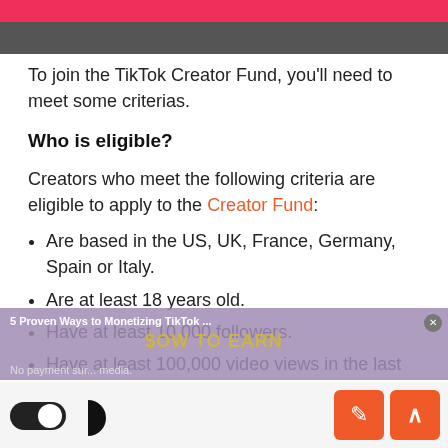[Figure (screenshot): Pink and dark grey header bars at top of page]
To join the TikTok Creator Fund, you'll need to meet some criterias.
Who is eligible?
Creators who meet the following criteria are eligible to apply to the Creator Fund:
Are based in the US, UK, France, Germany, Spain or Italy.
Are at least 18 years old.
Have at least 10,000 followers.
Have at least 100,000 video views in the last 30 days.
Have an account that fits with our TikTok
[Figure (screenshot): Overlay banner: 5 Proven Ways to Monetizing TikTok ... with close button and HOW TO EARN background image]
[Figure (screenshot): Bottom UI bar with dark toggle switch, edit button (pencil icon), and up arrow button]